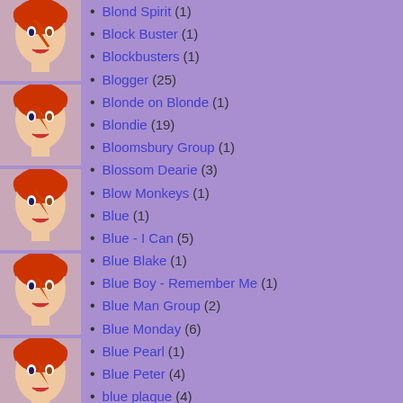Blond Spirit (1)
Block Buster (1)
Blockbusters (1)
Blogger (25)
Blonde on Blonde (1)
Blondie (19)
Bloomsbury Group (1)
Blossom Dearie (3)
Blow Monkeys (1)
Blue (1)
Blue - I Can (5)
Blue Blake (1)
Blue Boy - Remember Me (1)
Blue Man Group (2)
Blue Monday (6)
Blue Pearl (1)
Blue Peter (4)
blue plaque (4)
Bluebells - Young at Heart (2)
Bluegate Fields (1)
Blur (2)
Bob Downe (1)
Bob Eberly (2)